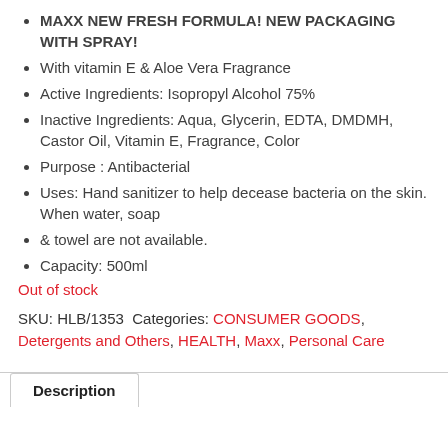MAXX NEW FRESH FORMULA! NEW PACKAGING WITH SPRAY!
With vitamin E & Aloe Vera Fragrance
Active Ingredients: Isopropyl Alcohol 75%
Inactive Ingredients: Aqua, Glycerin, EDTA, DMDMH, Castor Oil, Vitamin E, Fragrance, Color
Purpose : Antibacterial
Uses: Hand sanitizer to help decease bacteria on the skin. When water, soap
& towel are not available.
Capacity: 500ml
Out of stock
SKU: HLB/1353 Categories: CONSUMER GOODS, Detergents and Others, HEALTH, Maxx, Personal Care
Description